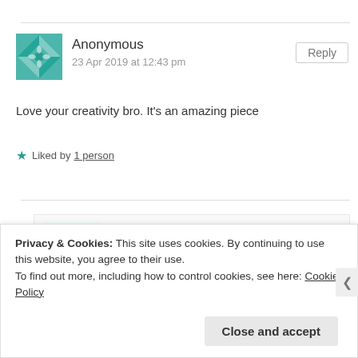[Figure (illustration): Teal geometric quilt-pattern avatar for Anonymous commenter]
Anonymous
23 Apr 2019 at 12:43 pm
Reply
Love your creativity bro. It's an amazing piece
★ Liked by 1 person
[Figure (illustration): Teal triangles/arrows pattern avatar for cjgicheru commenter]
cjgicheru
27 Apr 2019 at 8:23 pm
Reply
Privacy & Cookies: This site uses cookies. By continuing to use this website, you agree to their use.
To find out more, including how to control cookies, see here: Cookie Policy
Close and accept